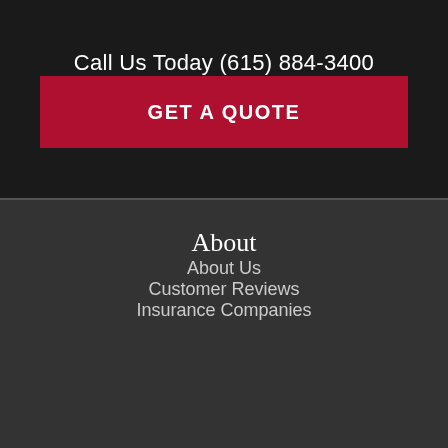Call Us Today (615) 884-3400
GET A QUOTE
About
About Us
Customer Reviews
Insurance Companies